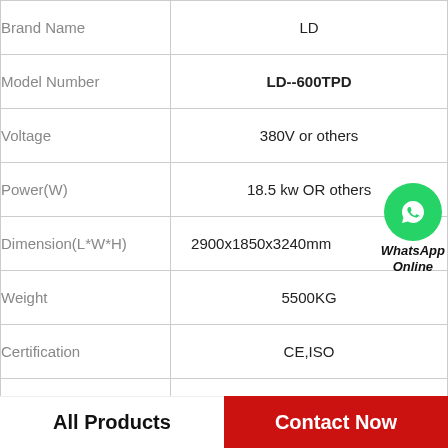|  |  |
| --- | --- |
| Brand Name | LD |
| Model Number | LD--600TPD |
| Voltage | 380V or others |
| Power(W) | 18.5 kw OR others |
| Dimension(L*W*H) | 2900x1850x3240mm |
| Weight | 5500KG |
| Certification | CE,ISO |
| After-sales Service Provided | Engineers available to service machinery overseas |
All Products   Contact Now